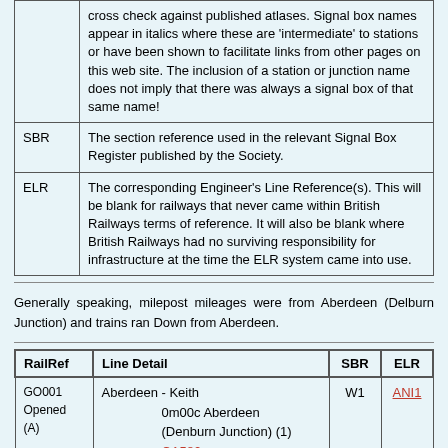|  |  |
| --- | --- |
|  | cross check against published atlases. Signal box names appear in italics where these are 'intermediate' to stations or have been shown to facilitate links from other pages on this web site. The inclusion of a station or junction name does not imply that there was always a signal box of that same name! |
| SBR | The section reference used in the relevant Signal Box Register published by the Society. |
| ELR | The corresponding Engineer's Line Reference(s). This will be blank for railways that never came within British Railways terms of reference. It will also be blank where British Railways had no surviving responsibility for infrastructure at the time the ELR system came into use. |
Generally speaking, milepost mileages were from Aberdeen (Delburn Junction) and trains ran Down from Aberdeen.
| RailRef | Line Detail | SBR | ELR |
| --- | --- | --- | --- |
| GO001 Opened (A) | Aberdeen - Keith
0m00c Aberdeen (Denburn Junction) (1)
CA580
0m17c Aberdeen Joint | W1 | ANI1 |